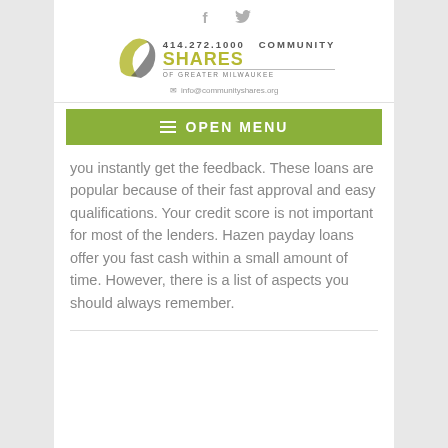[Figure (logo): Community Shares of Greater Milwaukee logo with stylized swoosh graphic, COMMUNITY SHARES OF GREATER MILWAUKEE text, social media icons (f, twitter bird), phone number 414.272.1000, and email info@communityshares.org]
[Figure (infographic): Green button with hamburger menu icon and text OPEN MENU]
you instantly get the feedback. These loans are popular because of their fast approval and easy qualifications. Your credit score is not important for most of the lenders. Hazen payday loans offer you fast cash within a small amount of time. However, there is a list of aspects you should always remember.